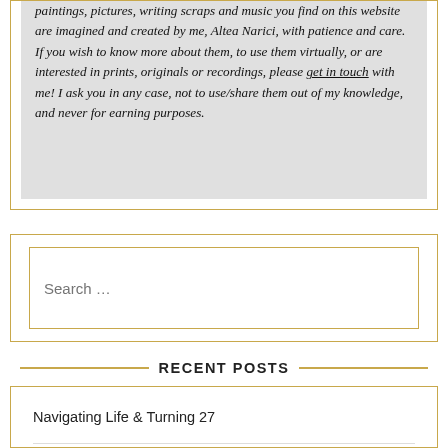paintings, pictures, writing scraps and music you find on this website are imagined and created by me, Altea Narici, with patience and care. If you wish to know more about them, to use them virtually, or are interested in prints, originals or recordings, please get in touch with me! I ask you in any case, not to use/share them out of my knowledge, and never for earning purposes.
Search ...
RECENT POSTS
Navigating Life & Turning 27